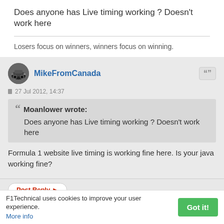Does anyone has Live timing working ? Doesn't work here
Losers focus on winners, winners focus on winning.
MikeFromCanada
27 Jul 2012, 14:37
Moanlower wrote:
Does anyone has Live timing working ? Doesn't work here
Formula 1 website live timing is working fine here. Is your java working fine?
Post Reply
F1Technical uses cookies to improve your user experience. More info
Got it!